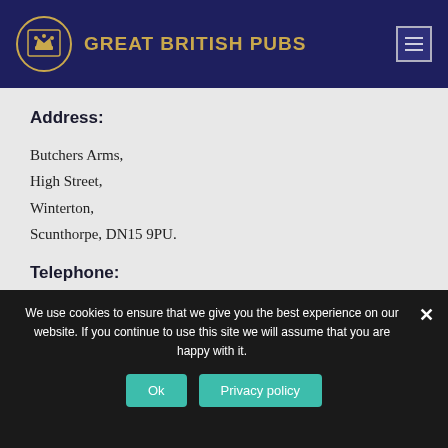GREAT BRITISH PUBS
Address:
Butchers Arms,
High Street,
Winterton,
Scunthorpe, DN15 9PU.
Telephone:
01724 732 269
We use cookies to ensure that we give you the best experience on our website. If you continue to use this site we will assume that you are happy with it.